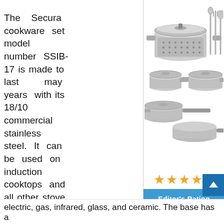The Secura cookware set model number SSIB-17 is made to last may years with its 18/10 commercial stainless steel. It can be used on induction cooktops and all other stove tops to include electric, gas, infrared, glass, and ceramic. The base has a
[Figure (photo): Photo of Secura stainless steel cookware set model SSIB-17, showing multiple pots, pans, lids, and utensils arranged in a display, with five gold star ratings and an Editor's Rating blue bar below.]